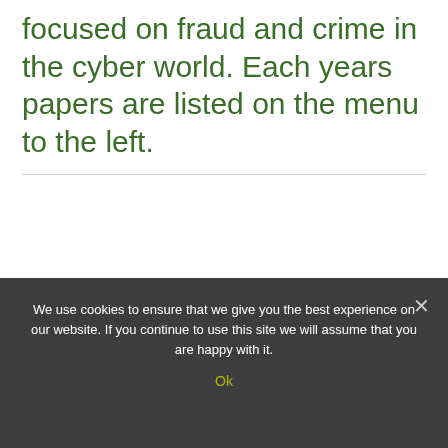focused on fraud and crime in the cyber world. Each years papers are listed on the menu to the left.
We use cookies to ensure that we give you the best experience on our website. If you continue to use this site we will assume that you are happy with it.
Ok